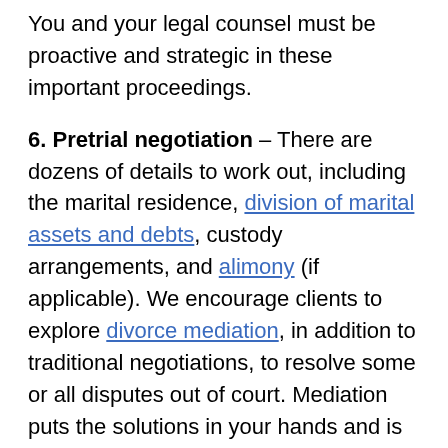You and your legal counsel must be proactive and strategic in these important proceedings.
6. Pretrial negotiation – There are dozens of details to work out, including the marital residence, division of marital assets and debts, custody arrangements, and alimony (if applicable). We encourage clients to explore divorce mediation, in addition to traditional negotiations, to resolve some or all disputes out of court. Mediation puts the solutions in your hands and is generally quicker and less expensive than litigation.
7. Custody proceedings – If you have kids, working out custody terms and a parenting plan will be a central focus of your divorce. If you are unable to agree on co-parenting arrangements, a